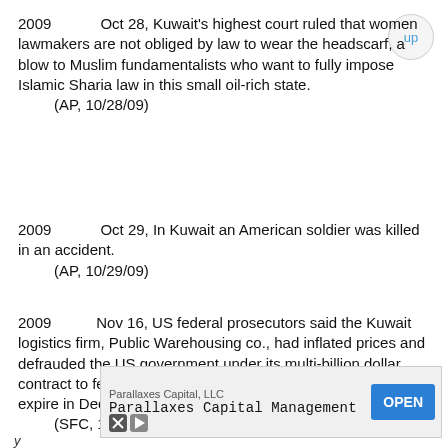2009    Oct 28, Kuwait's highest court ruled that women lawmakers are not obliged by law to wear the headscarf, a blow to Muslim fundamentalists who want to fully impose Islamic Sharia law in this small oil-rich state.
    (AP, 10/28/09)
2009    Oct 29, In Kuwait an American soldier was killed in an accident.
    (AP, 10/29/09)
2009    Nov 16, US federal prosecutors said the Kuwait logistics firm, Public Warehousing co., had inflated prices and defrauded the US government under its multi-billion dollar contract to feed American troops. The contract was set to expire in December 2010.
    (SFC, 11/17/09, p.D2)
[Figure (other): Advertisement banner for Parallaxes Capital, LLC - Parallaxes Capital Management with an OPEN button]